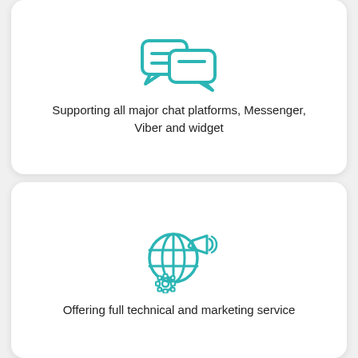[Figure (illustration): Two overlapping chat bubbles icon in teal/cyan outline style]
Supporting all major chat platforms, Messenger, Viber and widget
[Figure (illustration): Globe with megaphone and gear icon in teal/cyan outline style, representing technical and marketing services]
Offering full technical and marketing service